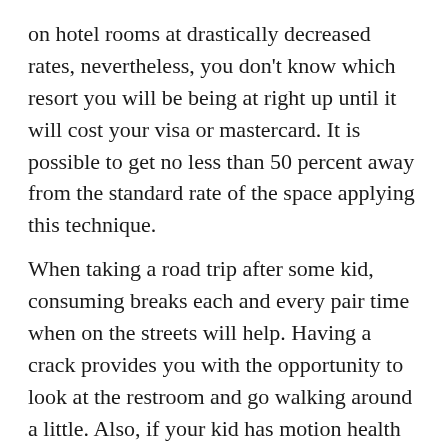on hotel rooms at drastically decreased rates, nevertheless, you don't know which resort you will be being at right up until it will cost your visa or mastercard. It is possible to get no less than 50 percent away from the standard rate of the space applying this technique.
When taking a road trip after some kid, consuming breaks each and every pair time when on the streets will help. Having a crack provides you with the opportunity to look at the restroom and go walking around a little. Also, if your kid has motion health problems, it is advisable to allow them from your vehicle once in awhile. It may take a little much longer to acquire there, nevertheless the vacation will be a good deal much less stressful.
Take clones of important info along with you by leaving a copy using a friend in your own home. In case you shed